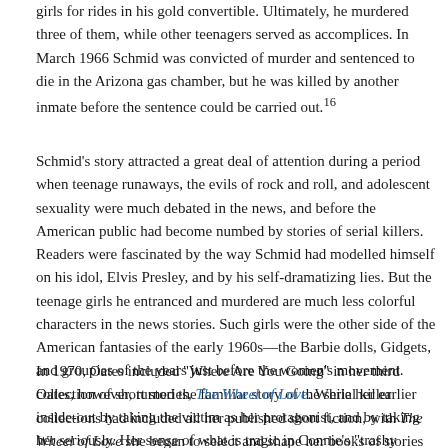girls for rides in his gold convertible. Ultimately, he murdered three of them, while other teenagers served as accomplices. In March 1966 Schmid was convicted of murder and sentenced to die in the Arizona gas chamber, but he was killed by another inmate before the sentence could be carried out.16
Schmid's story attracted a great deal of attention during a period when teenage runaways, the evils of rock and roll, and adolescent sexuality were much debated in the news, and before the American public had become numbed by stories of serial killers. Readers were fascinated by the way Schmid had modelled himself on his idol, Elvis Presley, and by his self-dramatizing lies. But the teenage girls he entranced and murdered are much less colorful characters in the news stories. Such girls were the other side of the American fantasies of the early 1960s—the Barbie dolls, Gidgets, and groupies of the years just before the women's movement. Oates, however, turned the familiar story of the serial killer inside-out by taking the victim as her protagonist, and by taking her seriously. Her sense of what is tragic in Connie's "trashy dreams," and what is heroic in her fate, is typical of her compassion for the women often rendered silent and inarticulate in American society.
In 1970, Oates included "Where Are You Going" in her third collection of short stories, The Wheel of Love. While her earlier collections had included all her published short fiction, with The Wheel of Love she began to select and shape her books of stories around a theme, so that they were "not